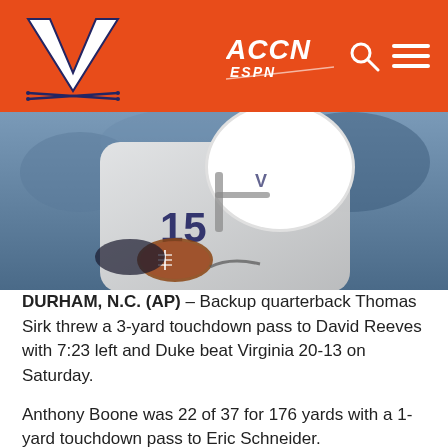Virginia Cavaliers Athletics — ACCN ESPN header
[Figure (photo): Football player wearing number 15 Virginia Cavaliers uniform holding a football, white helmet, close-up action shot]
DURHAM, N.C. (AP) – Backup quarterback Thomas Sirk threw a 3-yard touchdown pass to David Reeves with 7:23 left and Duke beat Virginia 20-13 on Saturday.
Anthony Boone was 22 of 37 for 176 yards with a 1-yard touchdown pass to Eric Schneider.
The Blue Devils (6-1, 2-1 Atlantic Coast Conference) reached bowl eligibility for the third straight year and took the early edge in the Coastal Division race.
Matt Johns was 22 of 45 for a career-high 325 yards with a 5-yard touchdown pass to Khalek Shepherd, Miles Gooch